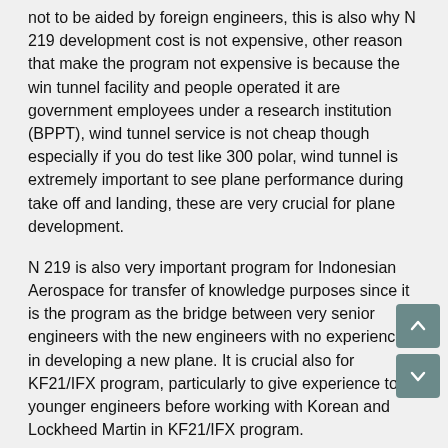not to be aided by foreign engineers, this is also why N 219 development cost is not expensive, other reason that make the program not expensive is because the win tunnel facility and people operated it are government employees under a research institution (BPPT), wind tunnel service is not cheap though especially if you do test like 300 polar, wind tunnel is extremely important to see plane performance during take off and landing, these are very crucial for plane development.
N 219 is also very important program for Indonesian Aerospace for transfer of knowledge purposes since it is the program as the bridge between very senior engineers with the new engineers with no experience in developing a new plane. It is crucial also for KF21/IFX program, particularly to give experience to younger engineers before working with Korean and Lockheed Martin in KF21/IFX program.
The first phase of development that started in 2011 for Indonesian part I believe is filled by very senior engineers with